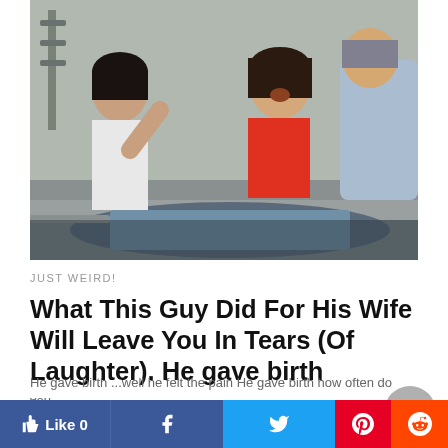[Figure (photo): Video still showing people in a medical/hospital setting. A person lying on a hospital bed, a woman in a white top to the left, a woman in a red top in the center laughing, and a person in a light blue shirt on the right leaning over.]
JUST WEIRD!
What This Guy Did For His Wife Will Leave You In Tears (Of Laughter). He gave birth
He gave birth ...well he felt the pain He gave birth how often do you...
6 years ago